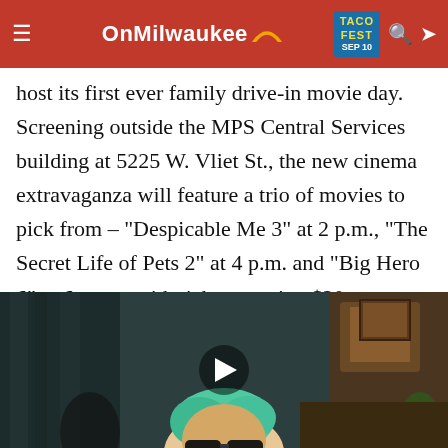OnMilwaukee | TACO FEST SEP 10
host its first ever family drive-in movie day. Screening outside the MPS Central Services building at 5225 W. Vliet St., the new cinema extravaganza will feature a trio of movies to pick from – "Despicable Me 3" at 2 p.m., "The Secret Life of Pets 2" at 4 p.m. and "Big Hero 6" at 6 p.m – with tickets costing $20 per vehicle, per movie. Popcorn and water will also be provided, though attendees are invited to bring their own snacks as well.
[Figure (photo): A person with green/teal hair wearing dark sunglasses, photographed indoors. A video play button is overlaid on the image.]